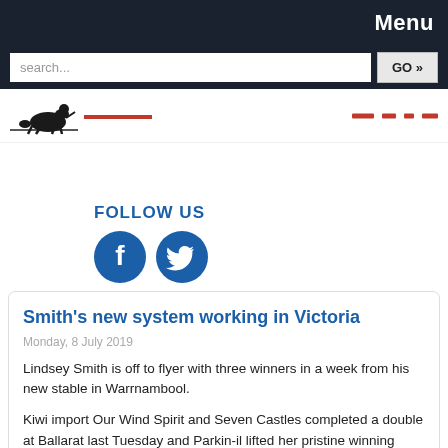Menu
search...   GO »
[Figure (logo): Horse racing silhouette logo with red horizontal line and navigation dashes]
FOLLOW US
[Figure (illustration): Facebook and Twitter social media icons in dark blue]
Smith's new system working in Victoria
Monday, 8 July 2019
Lindsey Smith is off to flyer with three winners in a week from his new stable in Warrnambool.
Kiwi import Our Wind Spirit and Seven Castles completed a double at Ballarat last Tuesday and Parkin-il lifted her pristine winning